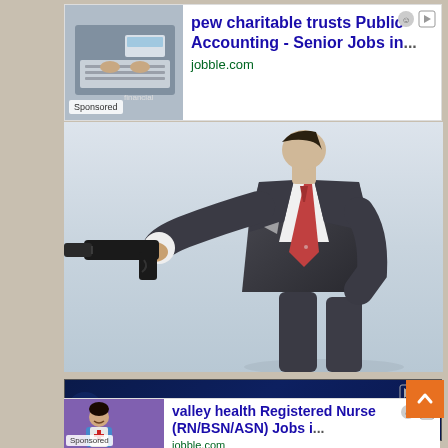[Figure (screenshot): Top sponsored ad: 'pew charitable trusts Public Accounting - Senior Jobs in...' from jobble.com, with thumbnail of person at laptop/calculator, Sponsored label]
[Figure (photo): Main photo: man in dark suit with red tie pointing a handgun with silencer toward the viewer, on a light grey background]
[Figure (screenshot): California Psychics advertisement banner with dark blue background, orange sunburst logo, white bold text reading 'California Psychics®' and partial text '100% Guaranteed']
[Figure (screenshot): Bottom sponsored ad: 'valley health Registered Nurse (RN/BSN/ASN) Jobs i...' from jobble.com, with thumbnail of smiling nurse, Sponsored label]